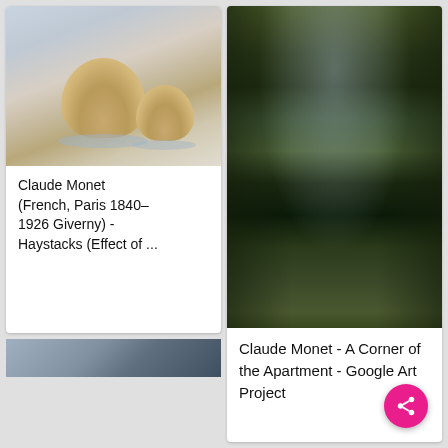[Figure (photo): Claude Monet painting of haystacks in winter, soft muted tones of grey-blue and warm tan]
Claude Monet (French, Paris 1840–1926 Giverny) - Haystacks (Effect of ...
[Figure (photo): Claude Monet painting of a corner of an apartment with dark silhouetted figure, lush green foliage, and window with hanging lamp]
Claude Monet - A Corner of the Apartment - Google Art Project
[Figure (photo): Partial view of another painting at bottom left, dark tones]